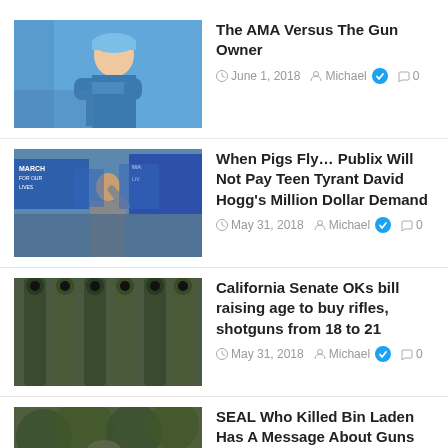The AMA Versus The Gun Owner | June 1, 2018 | Michael | 0
When Pigs Fly… Publix Will Not Pay Teen Tyrant David Hogg's Million Dollar Demand | May 31, 2018 | Michael | 0
California Senate OKs bill raising age to buy rifles, shotguns from 18 to 21 | May 31, 2018 | Michael | 0
SEAL Who Killed Bin Laden Has A Message About Guns That Will ENRAGE Liberals | May 30, 2018 | Michael | 0